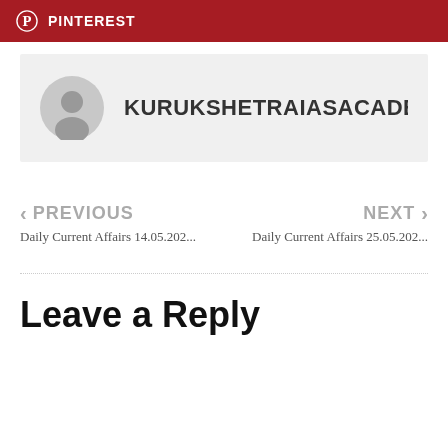[Figure (logo): Pinterest logo bar with red background and white Pinterest icon and text]
[Figure (infographic): Author card with gray background, user avatar icon and bold name KURUKSHETRAIASACADEM]
< PREVIOUS
Daily Current Affairs 14.05.202...
NEXT >
Daily Current Affairs 25.05.202...
Leave a Reply